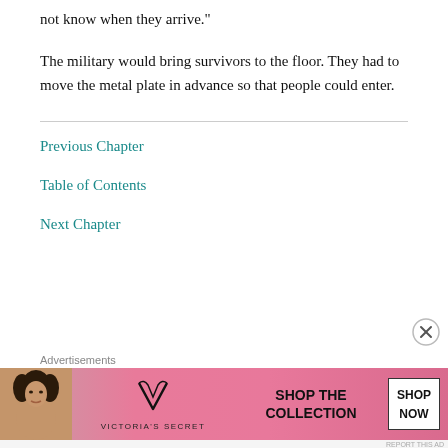not know when they arrive."
The military would bring survivors to the floor. They had to move the metal plate in advance so that people could enter.
Previous Chapter
Table of Contents
Next Chapter
[Figure (illustration): Victoria's Secret advertisement banner with a model, VS logo, 'SHOP THE COLLECTION' text, and a 'SHOP NOW' button on a pink gradient background.]